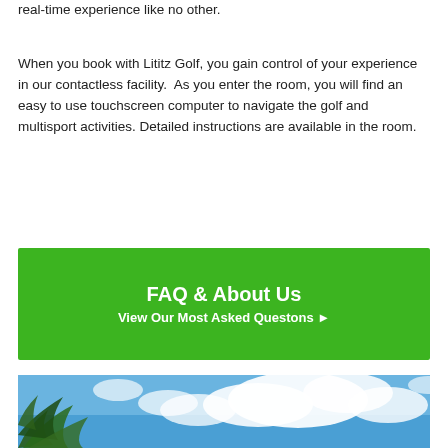real-time experience like no other.
When you book with Lititz Golf, you gain control of your experience in our contactless facility.  As you enter the room, you will find an easy to use touchscreen computer to navigate the golf and multisport activities. Detailed instructions are available in the room.
FAQ & About Us
View Our Most Asked Questons ▶
[Figure (photo): Photo of blue sky with white clouds and palm tree leaves in lower left corner]